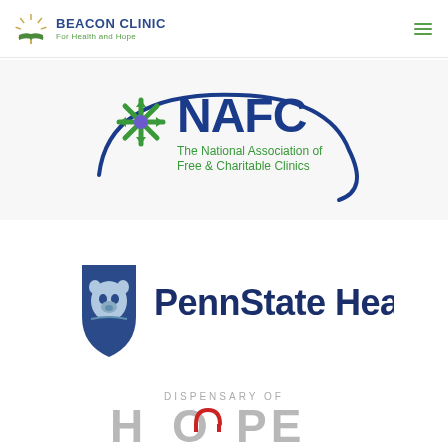[Figure (logo): Beacon Clinic For Health and Hope logo with sunburst icon and navigation hamburger menu]
[Figure (logo): NAFC - The National Association of Free & Charitable Clinics logo with blue arc and green snowflake-like icon]
[Figure (logo): Penn State Health logo with blue lion shield and bold dark blue text]
[Figure (logo): Dispensary of Hope logo with gray HOPE text and red arch accent on the O]